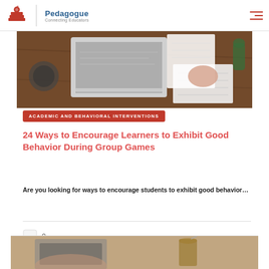Pedagogue — Connecting Educators
[Figure (photo): Overhead view of a person typing on a laptop with notebooks and a cactus on a wooden desk]
ACADEMIC AND BEHAVIORAL INTERVENTIONS
24 Ways to Encourage Learners to Exhibit Good Behavior During Group Games
Are you looking for ways to encourage students to exhibit good behavior…
[Figure (photo): Bottom strip photo: person at desk with laptop and drink]